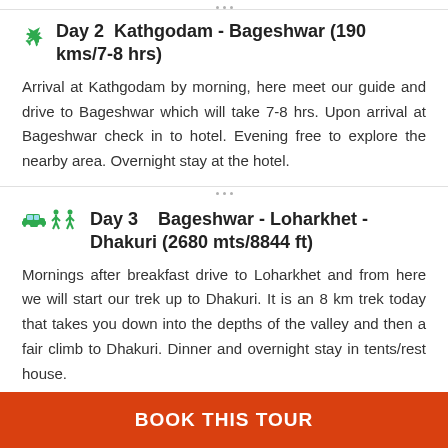Day 2  Kathgodam - Bageshwar (190 kms/7-8 hrs)
Arrival at Kathgodam by morning, here meet our guide and drive to Bageshwar which will take 7-8 hrs. Upon arrival at Bageshwar check in to hotel. Evening free to explore the nearby area. Overnight stay at the hotel.
Day 3    Bageshwar - Loharkhet - Dhakuri (2680 mts/8844 ft)
Mornings after breakfast drive to Loharkhet and from here we will start our trek up to Dhakuri. It is an 8 km trek today that takes you down into the depths of the valley and then a fair climb to Dhakuri. Dinner and overnight stay in tents/rest house.
BOOK THIS TOUR